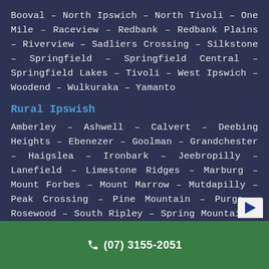Booval – North Ipswich – North Tivoli – One Mile – Raceview – Redbank – Redbank Plains – Riverview – Sadliers Crossing – Silkstone – Springfield – Springfield Central – Springfield Lakes – Tivoli – West Ipswich – Woodend – Wulkuraka – Yamanto
Rural Ipswish
Amberley – Ashwell – Calvert – Deebing Heights – Ebenezer – Goolman – Grandchester – Haigslea – Ironbark – Jeebropilly – Lanefield – Limestone Ridges – Marburg – Mount Forbes – Mount Marrow – Mutdapilly – Peak Crossing – Pine Mountain – Purga – Rosewood – South Ripley – Spring Mountain – Tallegalla – Thagoona – The Bluff – Walloon – White Rock – Willowbank – Woolshed
(07) 3155-2051